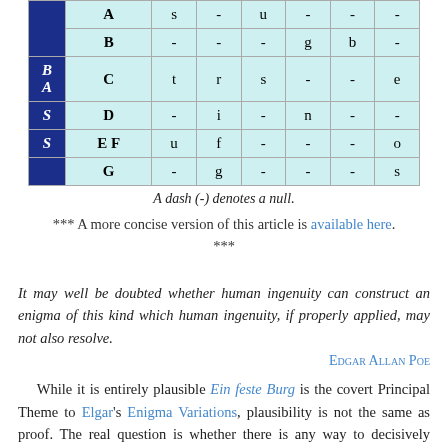|  |  | col1 | col2 | col3 | col4 | col5 | col6 |
| --- | --- | --- | --- | --- | --- | --- | --- |
|  | A | s | - | u | - | - | - |
| B | B | - | - | - | g | b | - |
| A | C | t | r | s | - | - | e |
| S | D | - | i | - | n | - | - |
| S | EF | u | f | - | - | - | o |
|  | G | - | g | - | - | - | s |
A dash (-) denotes a null.
*** A more concise version of this article is available here. ***
It may well be doubted whether human ingenuity can construct an enigma of this kind which human ingenuity, if properly applied, may not also resolve.
Edgar Allan Poe
While it is entirely plausible Ein feste Burg is the covert Principal Theme to Elgar's Enigma Variations, plausibility is not the same as proof. The real question is whether there is any way to decisively prove it. Absent confirmation, no solution has any hope